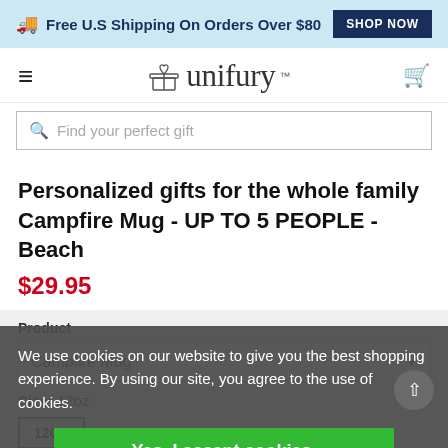Free U.S Shipping On Orders Over $80  SHOP NOW
[Figure (logo): Unifury logo with gift box icon]
Find your perfect gift
Personalized gifts for the whole family Campfire Mug - UP TO 5 PEOPLE - Beach
$29.95
We use cookies on our website to give you the best shopping experience. By using our site, you agree to the use of cookies.
Product
Campfire Mug
Size: 12oz
12OZ
Yes, I accept cookies.